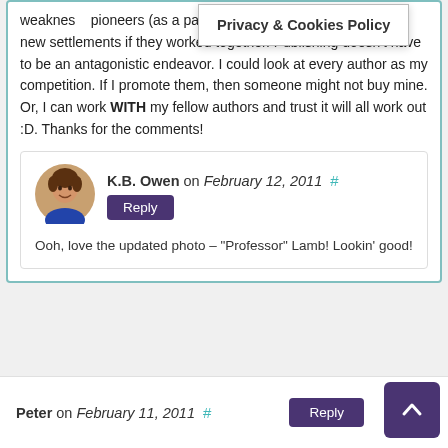weakness...pioneers (as a parallel)...of surviving and carving out new settlements if they worked together. Publishing doesn't have to be an antagonistic endeavor. I could look at every author as my competition. If I promote them, then someone might not buy mine. Or, I can work WITH my fellow authors and trust it will all work out :D. Thanks for the comments!
K.B. Owen on February 12, 2011  #  Reply
Ooh, love the updated photo – "Professor" Lamb! Lookin' good!
Peter on February 11, 2011  #  Reply
Privacy & Cookies Policy